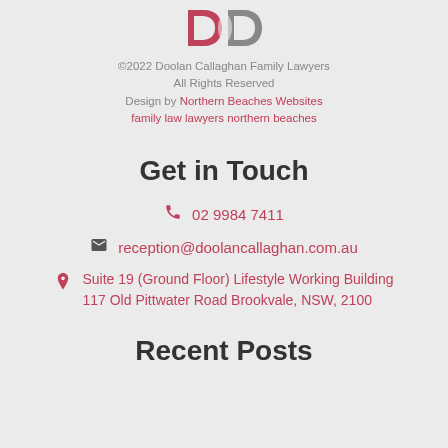[Figure (logo): Doolan Callaghan Family Lawyers logo - red and grey D C letters]
©2022 Doolan Callaghan Family Lawyers
All Rights Reserved
Design by Northern Beaches Websites
family law lawyers northern beaches
Get in Touch
02 9984 7411
reception@doolancallaghan.com.au
Suite 19 (Ground Floor) Lifestyle Working Building 117 Old Pittwater Road Brookvale, NSW, 2100
Recent Posts